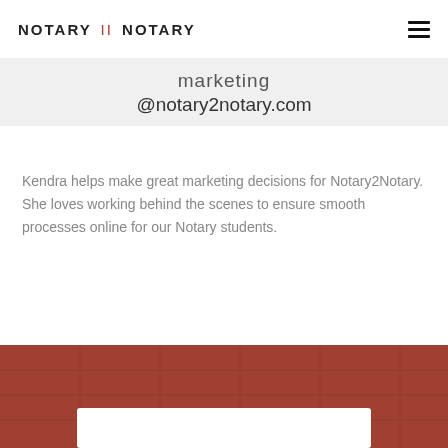NOTARY II NOTARY
marketing
@notary2notary.com
Kendra helps make great marketing decisions for Notary2Notary. She loves working behind the scenes to ensure smooth processes online for our Notary students.
[Figure (photo): Reddish-brown textured background section at the bottom of the page with a white rectangular box at the bottom center]